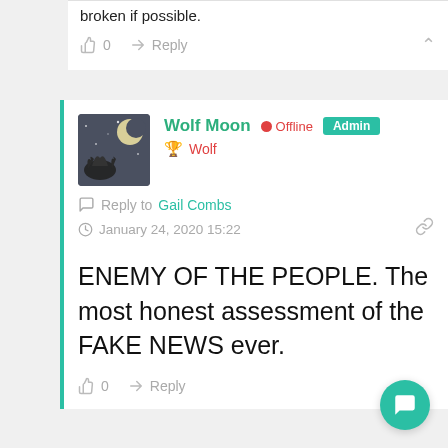broken if possible.
0  Reply
Wolf Moon  Offline  Admin  Wolf  Reply to Gail Combs  January 24, 2020 15:22
ENEMY OF THE PEOPLE. The most honest assessment of the FAKE NEWS ever.
0  Reply